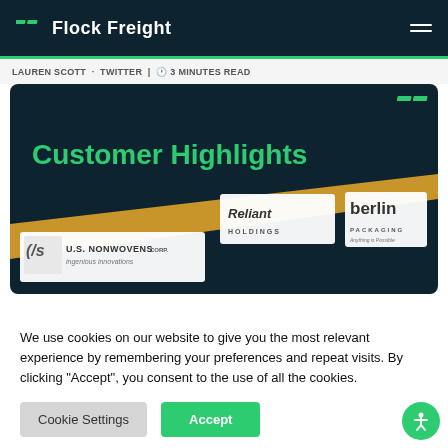Flock Freight
3 minutes read
[Figure (screenshot): Customer Highlights slide card on dark navy background with green title text and gold diagonal stripe. Shows logos: Reliant Holdings, Berlin Packaging, U.S. Nonwovens Corp.]
We use cookies on our website to give you the most relevant experience by remembering your preferences and repeat visits. By clicking “Accept”, you consent to the use of all the cookies.